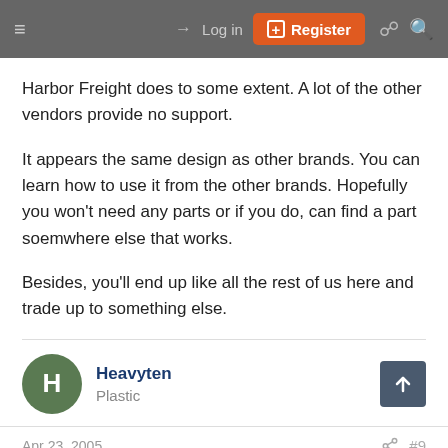Log in | Register
Harbor Freight does to some extent. A lot of the other vendors provide no support.
It appears the same design as other brands. You can learn how to use it from the other brands. Hopefully you won't need any parts or if you do, can find a part soemwhere else that works.
Besides, you'll end up like all the rest of us here and trade up to something else.
Heavyten
Plastic
Apr 23, 2005  #9